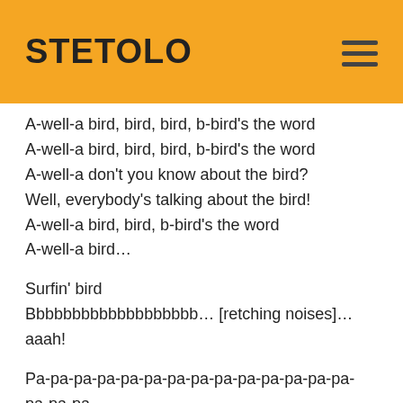STETOLO
A-well-a bird, bird, bird, b-bird's the word
A-well-a bird, bird, bird, b-bird's the word
A-well-a don't you know about the bird?
Well, everybody's talking about the bird!
A-well-a bird, bird, b-bird's the word
A-well-a bird...
Surfin' bird
Bbbbbbbbbbbbbbbbbb... [retching noises]...
aaah!
Pa-pa-pa-pa-pa-pa-pa-pa-pa-pa-pa-pa-pa-pa-pa-pa-
Pa-pa-pa-pa-pa-pa-pa-pa-pa-pa-pa-pa-pa-pa-ooma-mow-mow
Papa-ooma-mow-mow
Papa-ooma-mow-mow, papa-ooma-mow-mow
Papa-ooma-mow-mow, papa-ooma-mow-mow
Ooma-mow-mow, papa-ooma-mow-mow
Papa-ooma-mow-mow, papa-ooma-mow-mow
P...